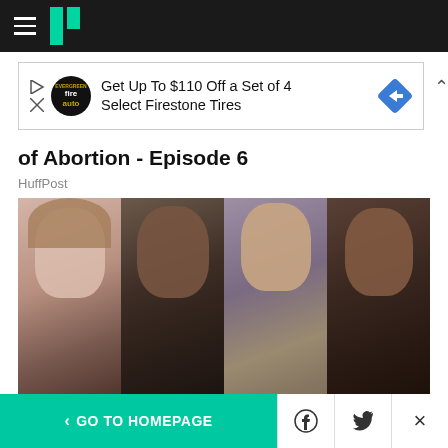HuffPost navigation bar with hamburger menu and logo
[Figure (illustration): Advertisement banner: Get Up To $110 Off a Set of 4 Select Firestone Tires]
of Abortion - Episode 6
HuffPost
[Figure (photo): Collage of four celebrities: Taylor Swift, Kendrick Lamar, Doja Cat, Lil Nas X]
MTV VMAs 2022: The Complete Winners
< GO TO HOMEPAGE | Facebook | Twitter | X (close)